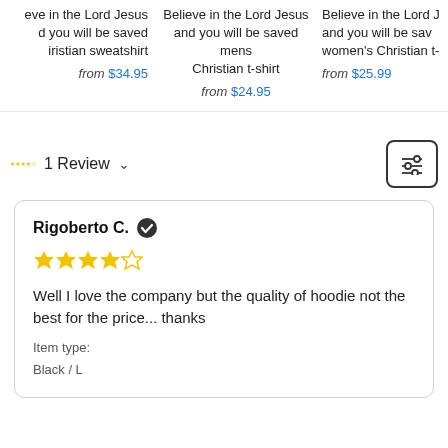eve in the Lord Jesus d you will be saved iristian sweatshirt from $34.95
Believe in the Lord Jesus and you will be saved mens Christian t-shirt from $24.95
Believe in the Lord J and you will be sav women's Christian t- from $25.99
1 Review ∨
Rigoberto C. ✓ ★★★★☆ Well I love the company but the quality of hoodie not the best for the price... thanks Item type: Black / L